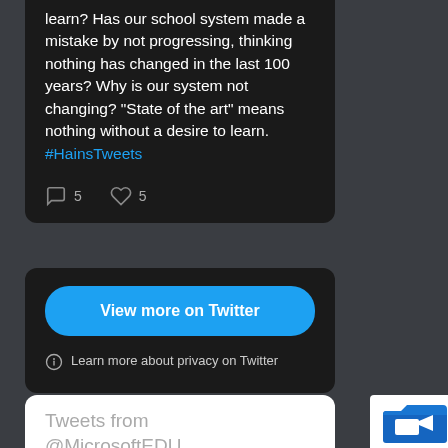learn? Has our school system made a mistake by not progressing, thinking nothing has changed in the last 100 years? Why is our system not changing? "State of the art" means nothing without a desire to learn. #HainsTweets
[Figure (screenshot): Tweet interaction icons: comment (5) and like (5)]
[Figure (screenshot): Blue 'View more on Twitter' button and privacy info text on dark background card]
Learn more about privacy on Twitter
Tweets from @MicrosoftEDU
[Figure (screenshot): Privacy - Terms box with blue folder icon in bottom right]